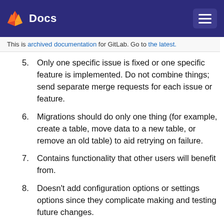Docs
This is archived documentation for GitLab. Go to the latest.
Only one specific issue is fixed or one specific feature is implemented. Do not combine things; send separate merge requests for each issue or feature.
Migrations should do only one thing (for example, create a table, move data to a new table, or remove an old table) to aid retrying on failure.
Contains functionality that other users will benefit from.
Doesn’t add configuration options or settings options since they complicate making and testing future changes.
Changes do not degrade performance:
Avoid repeated polling of endpoints that require a significant amount of overhead.
Check for N+1 queries via the SQL log or